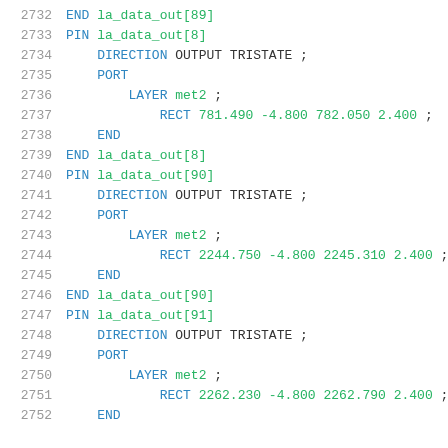2732    END la_data_out[89]
2733    PIN la_data_out[8]
2734        DIRECTION OUTPUT TRISTATE ;
2735        PORT
2736            LAYER met2 ;
2737                RECT 781.490 -4.800 782.050 2.400 ;
2738        END
2739    END la_data_out[8]
2740    PIN la_data_out[90]
2741        DIRECTION OUTPUT TRISTATE ;
2742        PORT
2743            LAYER met2 ;
2744                RECT 2244.750 -4.800 2245.310 2.400 ;
2745        END
2746    END la_data_out[90]
2747    PIN la_data_out[91]
2748        DIRECTION OUTPUT TRISTATE ;
2749        PORT
2750            LAYER met2 ;
2751                RECT 2262.230 -4.800 2262.790 2.400 ;
2752        END